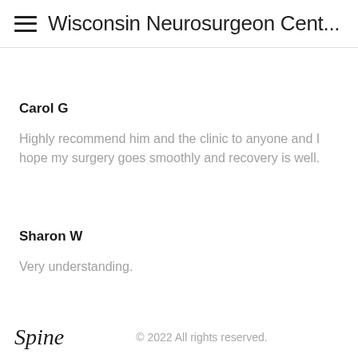Wisconsin Neurosurgeon Cent...
Carol G
Highly recommend him and the clinic to anyone and I hope my surgery goes smoothly and recovery is well.
Sharon W
Very understanding.
Spine  © 2022 All rights reserved.